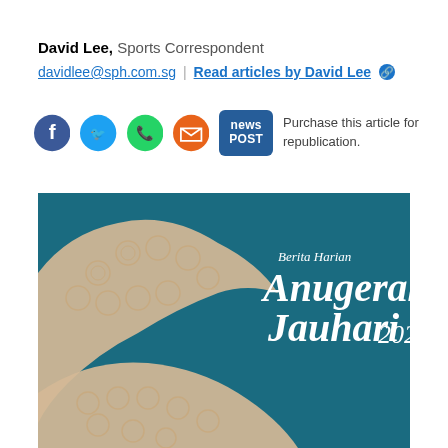David Lee, Sports Correspondent
davidlee@sph.com.sg | Read articles by David Lee 🔗
[Figure (infographic): Social sharing bar with Facebook, Twitter, WhatsApp, Email icons, News POST button, and 'Purchase this article for republication.' text]
[Figure (photo): Berita Harian Anugerah Jauhari 2022 event promotional image on teal/dark blue background with decorative Islamic geometric pattern motif in cream/beige forming a bird or dove silhouette shape]